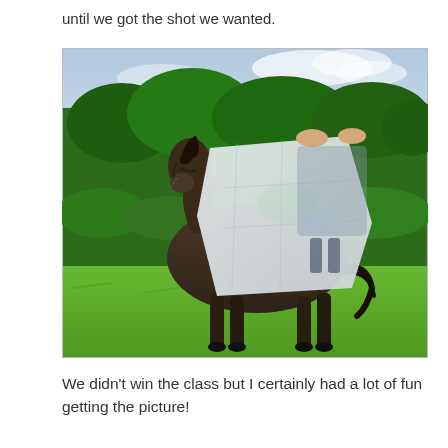until we got the shot we wanted.
[Figure (photo): A small dark brown pony/Shetland pony standing on grass with a large paper map draped over its back. A person's hands are visible holding the map. Background shows green trees and shrubbery under a partly cloudy sky.]
We didn't win the class but I certainly had a lot of fun getting the picture!